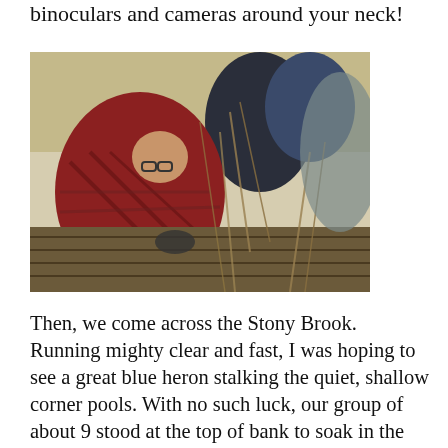binoculars and cameras around your neck!
[Figure (photo): People working outdoors on a wooden boardwalk or structure, bending over planks, surrounded by dry grass and branches. One person in a red plaid shirt and glasses is prominent in the foreground.]
Then, we come across the Stony Brook. Running mighty clear and fast, I was hoping to see a great blue heron stalking the quiet, shallow corner pools. With no such luck, our group of about 9 stood at the top of bank to soak in the calming sound of running water, which I realize now is why I stopped in the first place. There is something about that noise. It's no wonder